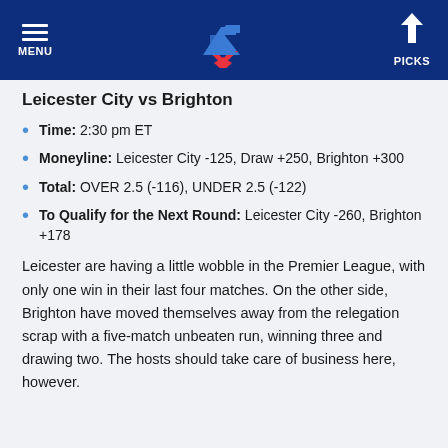MENU | [logo] | PICKS
Leicester City vs Brighton
Time: 2:30 pm ET
Moneyline: Leicester City -125, Draw +250, Brighton +300
Total: OVER 2.5 (-116), UNDER 2.5 (-122)
To Qualify for the Next Round: Leicester City -260, Brighton +178
Leicester are having a little wobble in the Premier League, with only one win in their last four matches. On the other side, Brighton have moved themselves away from the relegation scrap with a five-match unbeaten run, winning three and drawing two. The hosts should take care of business here, however.